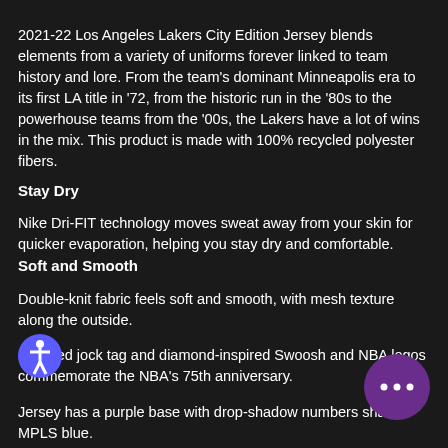2021-22 Los Angeles Lakers City Edition Jersey blends elements from a variety of uniforms forever linked to team history and lore. From the team's dominant Minneapolis era to its first LA title in '72, from the historic run in the '80s to the powerhouse teams from the '00s, the Lakers have a lot of wins in the mix. This product is made with 100% recycled polyester fibers.
Stay Dry
Nike Dri-FIT technology moves sweat away from your skin for quicker evaporation, helping you stay dry and comfortable.
Soft and Smooth
Double-knit fabric feels soft and smooth, with mesh texture along the outside.
Updated jock tag and diamond-inspired Swoosh and NBA logos commemorate the NBA's 75th anniversary.
Jersey has a purple base with drop-shadow numbers shaded MPLS blue. "The Lakers Dynasty" is printed as an anthem above the jock tag.
More Details
Standard fit for a relaxed, easy feel
Vented drop-tail hem
Set-in neckline and armhole ribbing
Heat-applied team and player name
Screen printed logos and jock tag
100% recycled polyester
Machine wash
Imported